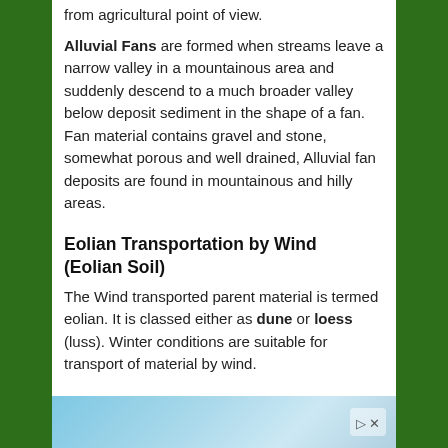from agricultural point of view.
Alluvial Fans are formed when streams leave a narrow valley in a mountainous area and suddenly descend to a much broader valley below deposit sediment in the shape of a fan. Fan material contains gravel and stone, somewhat porous and well drained, Alluvial fan deposits are found in mountainous and hilly areas.
Eolian Transportation by Wind (Eolian Soil)
The Wind transported parent material is termed eolian. It is classed either as dune or loess (luss). Winter conditions are suitable for transport of material by wind.
[Figure (photo): Partial view of an advertisement image showing a blue underwater or aerial scene with a play/ad button arrow icon in the top right corner.]